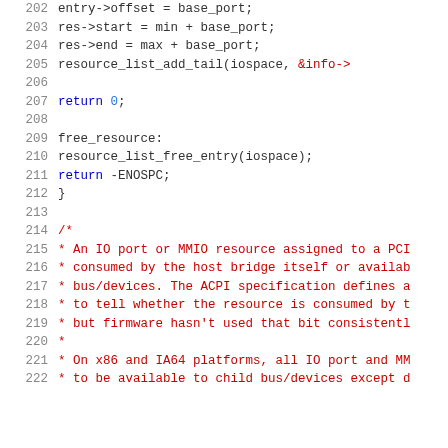[Figure (screenshot): Source code listing lines 202-222 showing C kernel code with line numbers, featuring variable assignments, goto labels, function calls, and a comment block about IO port/MMIO resources for PCI host bridges.]